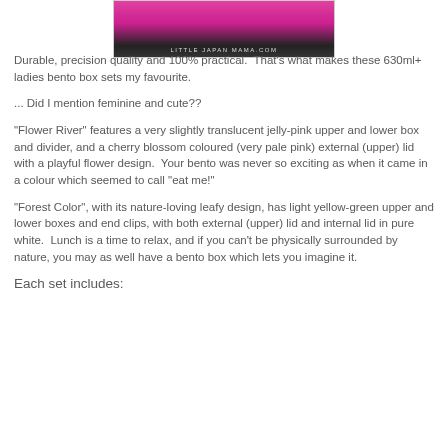[Figure (photo): Photo of pink bento box with 'LITTLE JAPAN MAMA.COM' watermark at the bottom]
Durable, precision quality and 100% practical.  That's what makes these 630ml+ ladies bento box sets my favourite.
... Did I mention feminine and cute??
"Flower River" features a very slightly translucent jelly-pink upper and lower box and divider, and a cherry blossom coloured (very pale pink) external (upper) lid with a playful flower design.  Your bento was never so exciting as when it came in a colour which seemed to call "eat me!"
"Forest Color", with its nature-loving leafy design, has light yellow-green upper and lower boxes and end clips, with both external (upper) lid and internal lid in pure white.  Lunch is a time to relax, and if you can't be physically surrounded by nature, you may as well have a bento box which lets you imagine it.
Each set includes: